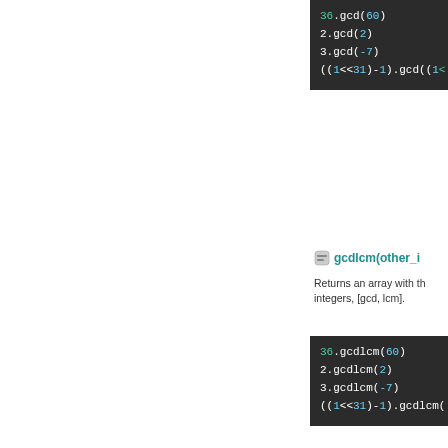[Figure (screenshot): Code block showing gcd method calls: 36.gcd(60), 2.gcd(2), 3.gcd(-7), ((1<<31)-1).gcd((1<< cut off)]
gcdlcm(other_i...
Returns an array with the integers, [gcd, lcm].
[Figure (screenshot): Code block showing gcdlcm method calls: 36.gcdlcm(60), 2.gcdlcm(2), 3.gcdlcm(-7), ((1<<31)-1).gcdlcm( cut off)]
inspect(*args)
Alias for: to_s